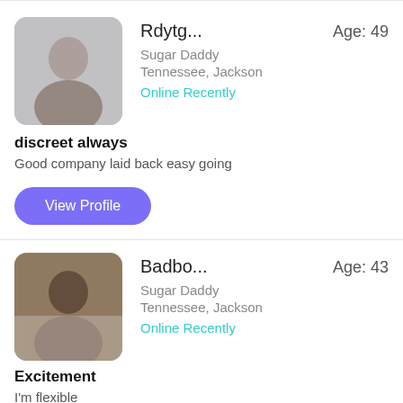[Figure (photo): Blurred profile photo of a man, rounded square avatar]
Rdytg...  Age: 49
Sugar Daddy
Tennessee, Jackson
Online Recently
discreet always
Good company laid back easy going
View Profile
[Figure (photo): Blurred profile photo of a man in a car, rounded square avatar]
Badbo...  Age: 43
Sugar Daddy
Tennessee, Jackson
Online Recently
Excitement
I'm flexible
View Profile